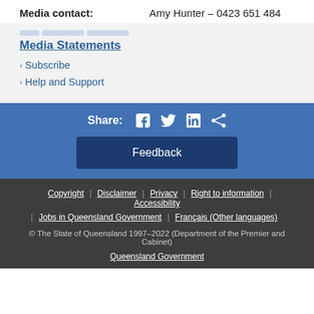Media contact: Amy Hunter – 0423 651 484
Media Statements
Subscribe
Help and Support
Share: [Facebook] [Twitter] [LinkedIn] [Share]
Feedback
Copyright | Disclaimer | Privacy | Right to information | Accessibility | Jobs in Queensland Government | Français (Other languages) | © The State of Queensland 1997–2022 (Department of the Premier and Cabinet) | Queensland Government